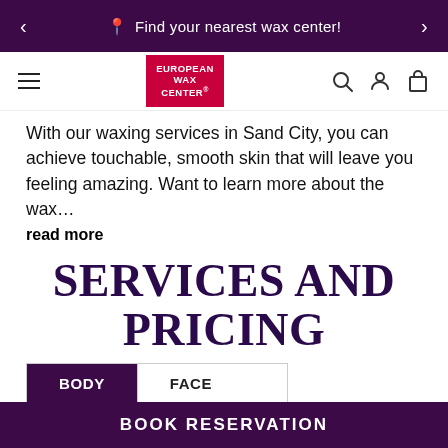Find your nearest wax center!
[Figure (logo): European Wax Center logo - red rectangle with white text]
With our waxing services in Sand City, you can achieve touchable, smooth skin that will leave you feeling amazing. Want to learn more about the wax... read more
SERVICES AND PRICING
| Service | Type | Price |
| --- | --- | --- |
| Arms | FULL | $53.00 |
| Arms | HALF | $45.00 |
BOOK RESERVATION